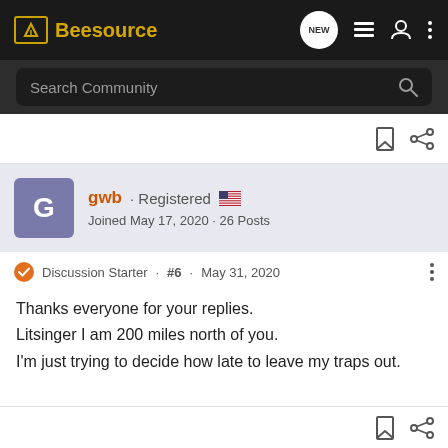Beesource
Search Community
gwb · Registered
Joined May 17, 2020 · 26 Posts
Discussion Starter · #6 · May 31, 2020
Thanks everyone for your replies.
Litsinger I am 200 miles north of you.
I'm just trying to decide how late to leave my traps out.